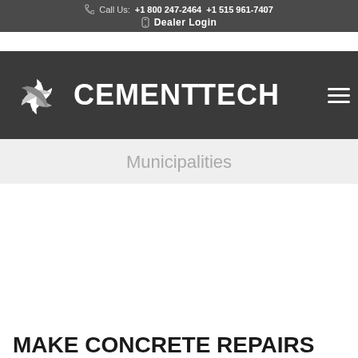Call Us: +1 800 247-2464  +1 515 961-7407  Dealer Login
[Figure (logo): Cementech logo with swirl icon and CEMENTECH text in white on dark grey background, with hamburger menu icon on the right]
Municipalities
MAKE CONCRETE REPAIRS